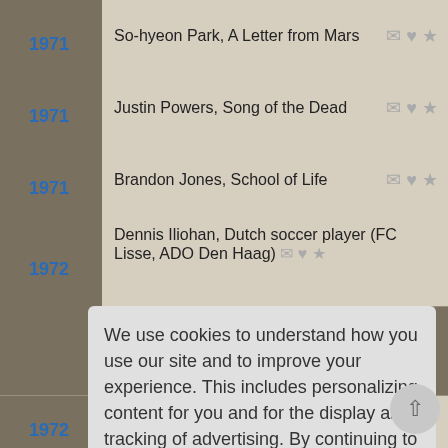1971 — So-hyeon Park, A Letter from Mars
1971 — Justin Powers, Song of the Dead
1971 — Brandon Jones, School of Life
1972 — Dennis Iliohan, Dutch soccer player (FC Lisse, ADO Den Haag)
We use cookies to understand how you use our site and to improve your experience. This includes personalizing content for you and for the display and tracking of advertising. By continuing to use our site, you accept and agree to our use of cookies. Privacy Policy
1972 — Holter Graham, Fly Away Home